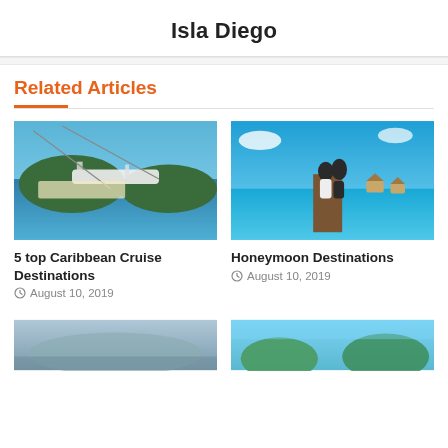Isla Diego
Related Articles
[Figure (photo): Aerial view of Caribbean bay with ziplines and cruise ship in background]
5 top Caribbean Cruise Destinations
August 10, 2019
[Figure (photo): Couple standing on a wooden pier overlooking turquoise ocean with overwater bungalows]
Honeymoon Destinations
August 10, 2019
[Figure (photo): Aerial coastal city view]
[Figure (photo): Tropical green island with blue sky]